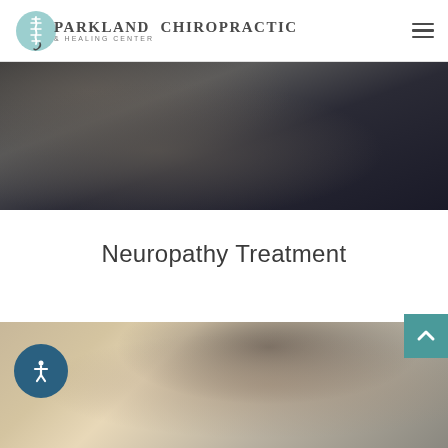[Figure (logo): Parkland Chiropractic & Healing Center logo with teal spinal column circle graphic]
[Figure (photo): Close-up photograph of a person in a dark textured sweater touching their neck/shoulder area, suggesting neck pain]
Neuropathy Treatment
[Figure (photo): Photograph of a man with dark curly hair looking downward, appearing to be in a clinical setting with beige walls]